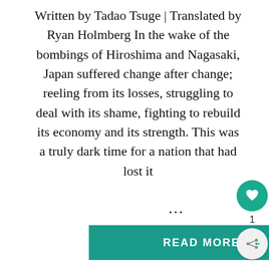Written by Tadao Tsuge | Translated by Ryan Holmberg In the wake of the bombings of Hiroshima and Nagasaki, Japan suffered change after change; reeling from its losses, struggling to deal with its shame, fighting to rebuild its economy and its strength. This was a truly dark time for a nation that had lost it...
[Figure (screenshot): READ MORE button in teal/green color, and sidebar UI elements including a teal heart/like button with count 1, a share button, and a WHAT'S NEXT section with a thumbnail and text 'The Healing Power of...'. Bottom area shows partially visible advertisement banners including one with 'We stand with...' text and another with 'CHANGE LIVES' text featuring cat images.]